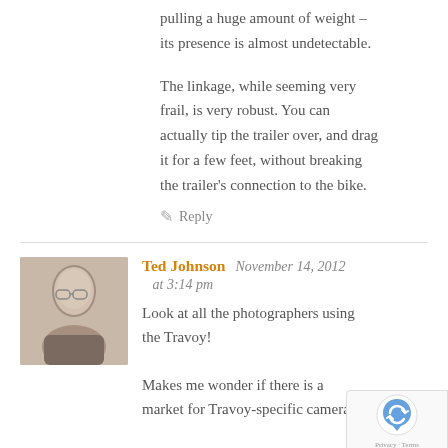pulling a huge amount of weight – its presence is almost undetectable.
The linkage, while seeming very frail, is very robust. You can actually tip the trailer over, and drag it for a few feet, without breaking the trailer's connection to the bike.
✏ Reply
Ted Johnson   November 14, 2012 at 3:14 pm
[Figure (photo): Avatar photo of Ted Johnson, an older bald man wearing glasses]
Look at all the photographers using the Travoy!
Makes me wonder if there is a market for Travoy-specific camera